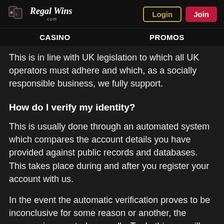Regal Wins | Login | Join
CASINO   PROMOS
This is in line with UK legislation to which all UK operators must adhere and which, as a socially responsible business, we fully support.
How do I verify my identity?
This is usually done through an automated system which compares the account details you have provided against public records and databases. This takes place during and after you register your account with us.
In the event the automatic verification proves to be inconclusive for some reason or another, the process is repeated manually. To do this, we will ask you to provide us